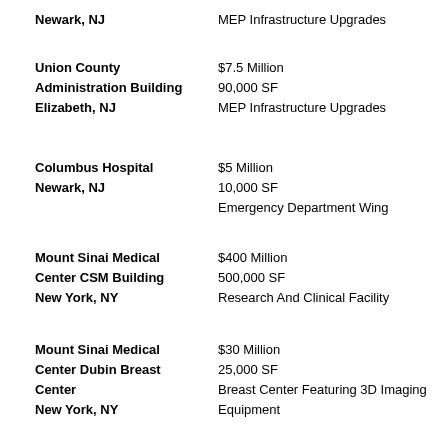Newark, NJ | MEP Infrastructure Upgrades
Union County Administration Building
Elizabeth, NJ | $7.5 Million
90,000 SF
MEP Infrastructure Upgrades
Columbus Hospital
Newark, NJ | $5 Million
10,000 SF
Emergency Department Wing
Mount Sinai Medical Center CSM Building
New York, NY | $400 Million
500,000 SF
Research And Clinical Facility
Mount Sinai Medical Center Dubin Breast Center
New York, NY | $30 Million
25,000 SF
Breast Center Featuring 3D Imaging Equipment
Mount Sinai Medical Center Main Campus
New York, NY | $350 Million
3,500,000 SF
Mixed Use Clinical And P.A.R.